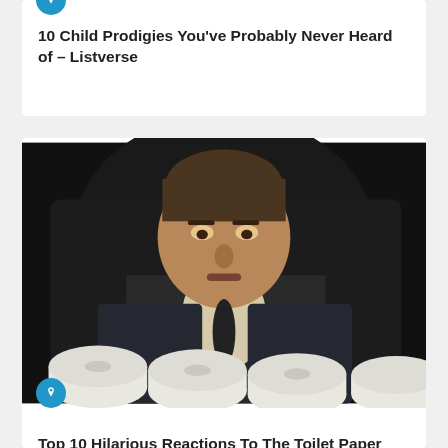[Figure (photo): Partial top of card 1 showing a person, cropped]
10 Child Prodigies You've Probably Never Heard of – Listverse
[Figure (photo): Black and white photo of a man in a suit surrounded by rolls of toilet paper, seated in a large chair]
Top 10 Hilarious Reactions To The Toilet Paper Shortage – Listverse